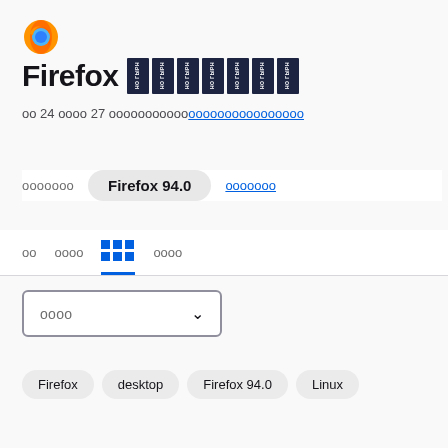[Figure (logo): Firefox flame logo icon]
Firefox [NO ГУРН repeated blocks]
оо 24 оооо 27 ооооооооооо[link]оооооооооооооооо
ооооооо   Firefox 94.0   ооооооо
оо   оооооо   [tabs icon]   оооо
оооо  ∨
Firefox   desktop   Firefox 94.0   Linux